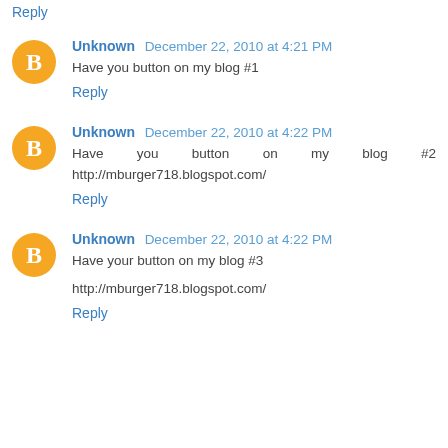Reply
Unknown December 22, 2010 at 4:21 PM
Have you button on my blog #1
Reply
Unknown December 22, 2010 at 4:22 PM
Have you button on my blog #2 http://mburger718.blogspot.com/
Reply
Unknown December 22, 2010 at 4:22 PM
Have your button on my blog #3
http://mburger718.blogspot.com/
Reply